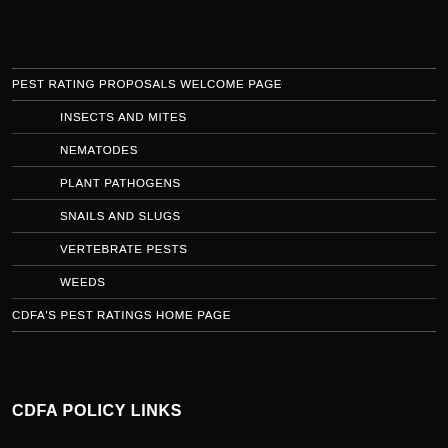PEST RATING PROPOSALS WELCOME PAGE
INSECTS AND MITES
NEMATODES
PLANT PATHOGENS
SNAILS AND SLUGS
VERTEBRATE PESTS
WEEDS
CDFA'S PEST RATINGS HOME PAGE
CDFA POLICY LINKS